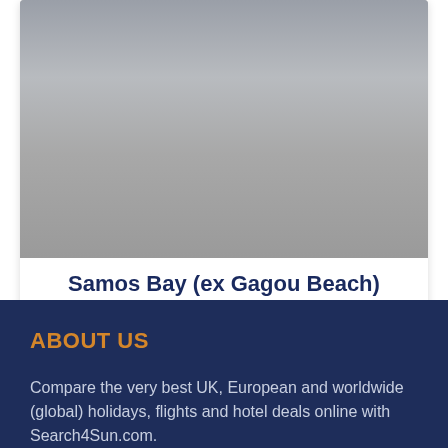[Figure (photo): Photo of Samos Bay beach area, partially visible at top, with grey/overcast appearance]
Samos Bay (ex Gagou Beach)
ABOUT US
Compare the very best UK, European and worldwide (global) holidays, flights and hotel deals online with Search4Sun.com.